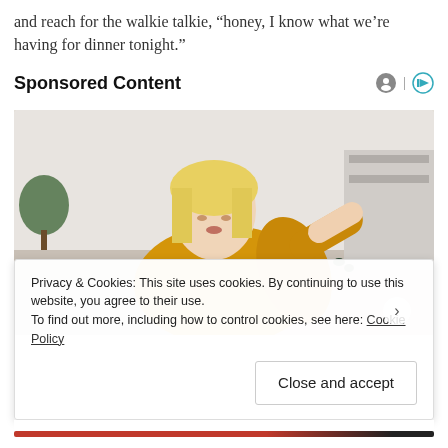and reach for the walkie talkie, “honey, I know what we’re having for dinner tonight.”
Sponsored Content
[Figure (photo): A blonde woman in a yellow knit sweater looking at her arm/elbow while seated on a couch in a living room setting.]
Privacy & Cookies: This site uses cookies. By continuing to use this website, you agree to their use.
To find out more, including how to control cookies, see here: Cookie Policy
Close and accept